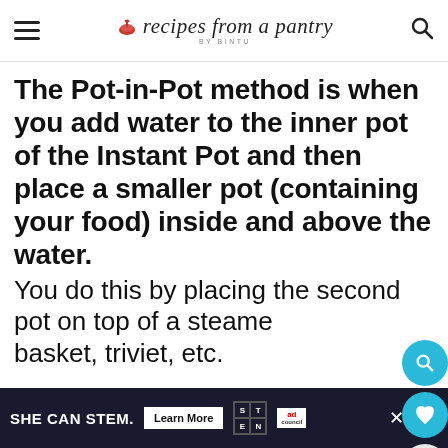recipes from a pantry BY BINTU
The Pot-in-Pot method is when you add water to the inner pot of the Instant Pot and then place a smaller pot (containing your food) inside and above the water. You do this by placing the second pot on top of a steamer basket, triviet, etc.
SHE CAN STEM. Learn More  S T E N  ad council  ×